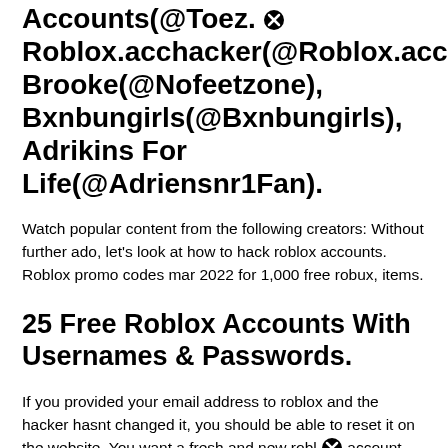Accounts(@Toez. Roblox.acchacker(@Roblox.acchacker), Brooke(@Nofeetzone), Bxnbungirls(@Bxnbungirls), Adrikins For Life(@Adriensnr1Fan).
Watch popular content from the following creators: Without further ado, let's look at how to hack roblox accounts. Roblox promo codes mar 2022 for 1,000 free robux, items.
25 Free Roblox Accounts With Usernames & Passwords.
If you provided your email address to roblox and the hacker hasnt changed it, you should be able to reset it on the website. You want a fresh and new roblox account, please comment